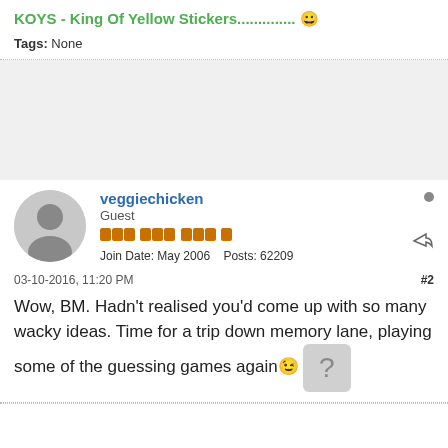KOYS - King Of Yellow Stickers.............. 😀
Tags: None
veggiechicken
Guest
Join Date: May 2006  Posts: 62209
03-10-2016, 11:20 PM   #2
Wow, BM. Hadn't realised you'd come up with so many wacky ideas. Time for a trip down memory lane, playing some of the guessing games again 😉